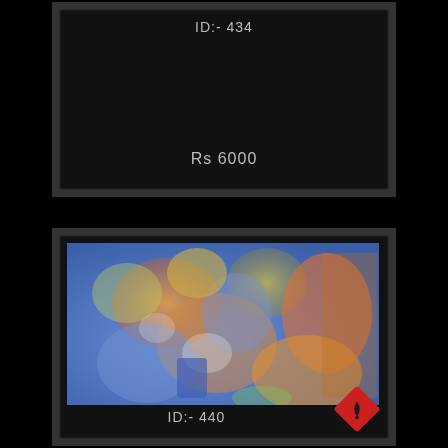ID:- 434
Rs 6000
[Figure (illustration): Abstract colorful painting with blue, orange, and yellow tones showing figures, framed in black frame. ID:- 440 shown below.]
ID:- 440